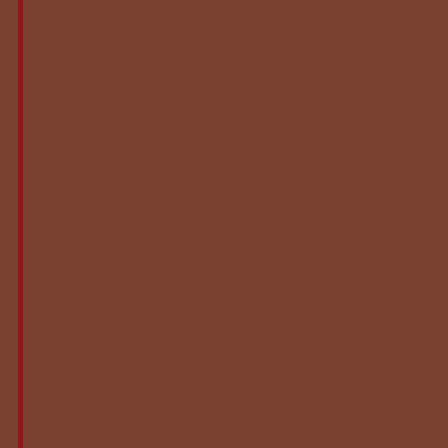Memhane  26 Septem...
Yes I heard great thin... that I'm curious to try...
Reply
Replies
Blodeuedd
I hope you g...
Reply
Mary (Bookfan)  26 S...
Sounds good!
Reply
Replies
Blodeuedd
:)
Reply
Anachronist  26 Sep...
Ack, that cover.
Reply